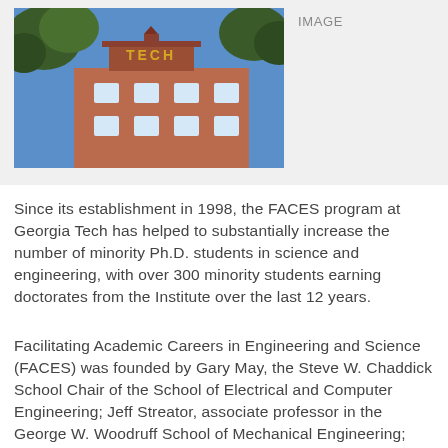[Figure (photo): Photograph of a Georgia Tech building with gold 'TECH' lettering on top of a red brick building with a blue sky background and trees]
IMAGE
Since its establishment in 1998, the FACES program at Georgia Tech has helped to substantially increase the number of minority Ph.D. students in science and engineering, with over 300 minority students earning doctorates from the Institute over the last 12 years.
Facilitating Academic Careers in Engineering and Science (FACES) was founded by Gary May, the Steve W. Chaddick School Chair of the School of Electrical and Computer Engineering; Jeff Streator, associate professor in the George W. Woodruff School of Mechanical Engineering; Reggie DesRoches, associate